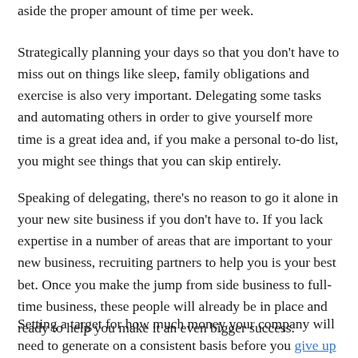aside the proper amount of time per week.
Strategically planning your days so that you don't have to miss out on things like sleep, family obligations and exercise is also very important. Delegating some tasks and automating others in order to give yourself more time is a great idea and, if you make a personal to-do list, you might see things that you can skip entirely.
Speaking of delegating, there's no reason to go it alone in your new site business if you don't have to. If you lack expertise in a number of areas that are important to your new business, recruiting partners to help you is your best bet. Once you make the jump from side business to full-time business, these people will already be in place and ready to help you make it an even bigger success.
Setting a target for how much money your company will need to generate on a consistent basis before you give up your steady paycheck is a definite necessity. Knowing how much you'll need to...